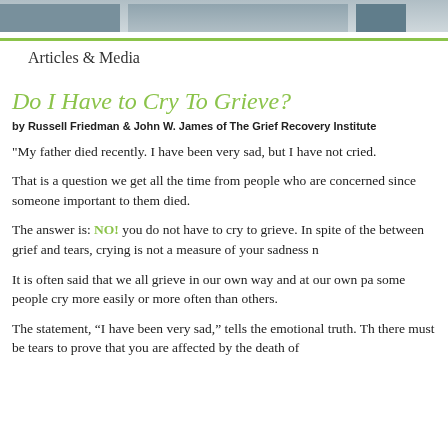Articles & Media
Do I Have to Cry To Grieve?
by Russell Friedman & John W. James of The Grief Recovery Institute
"My father died recently. I have been very sad, but I have not cried.
That is a question we get all the time from people who are concerned since someone important to them died.
The answer is: NO! you do not have to cry to grieve. In spite of the between grief and tears, crying is not a measure of your sadness n
It is often said that we all grieve in our own way and at our own pa some people cry more easily or more often than others.
The statement, “I have been very sad,” tells the emotional truth. Th there must be tears to prove that you are affected by the death of